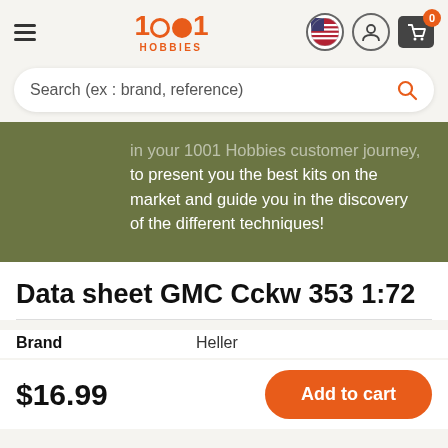1001 HOBBIES
Search (ex : brand, reference)
in your 1001 Hobbies customer journey, to present you the best kits on the market and guide you in the discovery of the different techniques!
Data sheet GMC Cckw 353 1:72
Brand	Heller
$16.99
Add to cart